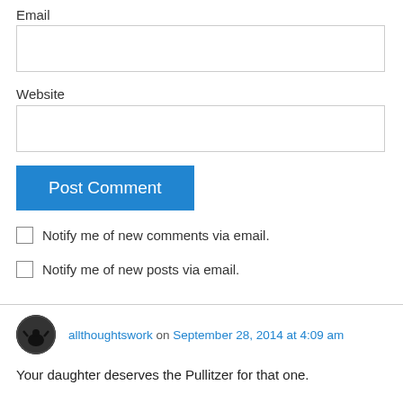Email
[Figure (other): Empty text input box for Email field]
Website
[Figure (other): Empty text input box for Website field]
[Figure (other): Post Comment button (blue)]
Notify me of new comments via email.
Notify me of new posts via email.
allthoughtswork on September 28, 2014 at 4:09 am
Your daughter deserves the Pullitzer for that one.